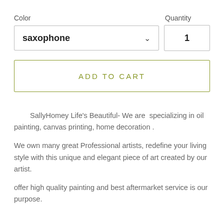Color
Quantity
saxophone
1
ADD TO CART
SallyHomey Life's Beautiful- We are  specializing in oil painting, canvas printing, home decoration .
We own many great Professional artists, redefine your living style with this unique and elegant piece of art created by our artist.
offer high quality painting and best aftermarket service is our purpose.